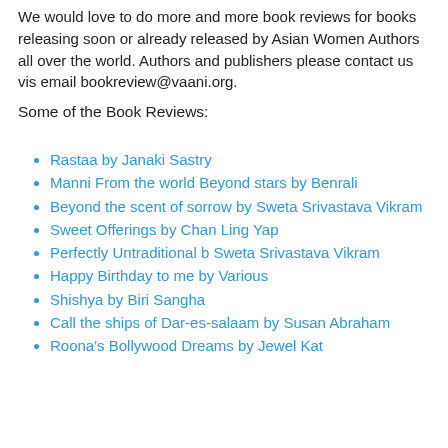We would love to do more and more book reviews for books releasing soon or already released by Asian Women Authors all over the world. Authors and publishers please contact us vis email bookreview@vaani.org.
Some of the Book Reviews:
Rastaa by Janaki Sastry
Manni From the world Beyond stars by Benrali
Beyond the scent of sorrow by Sweta Srivastava Vikram
Sweet Offerings by Chan Ling Yap
Perfectly Untraditional b Sweta Srivastava Vikram
Happy Birthday to me by Various
Shishya by Biri Sangha
Call the ships of Dar-es-salaam by Susan Abraham
Roona's Bollywood Dreams by Jewel Kat